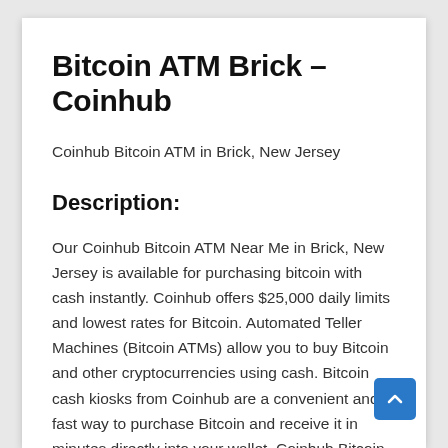Bitcoin ATM Brick – Coinhub
Coinhub Bitcoin ATM in Brick, New Jersey
Description:
Our Coinhub Bitcoin ATM Near Me in Brick, New Jersey is available for purchasing bitcoin with cash instantly. Coinhub offers $25,000 daily limits and lowest rates for Bitcoin. Automated Teller Machines (Bitcoin ATMs) allow you to buy Bitcoin and other cryptocurrencies using cash. Bitcoin cash kiosks from Coinhub are a convenient and fast way to purchase Bitcoin and receive it in minutes directly into your wallet. Coinhub Bitcoin machines are easy to use and allow buying at